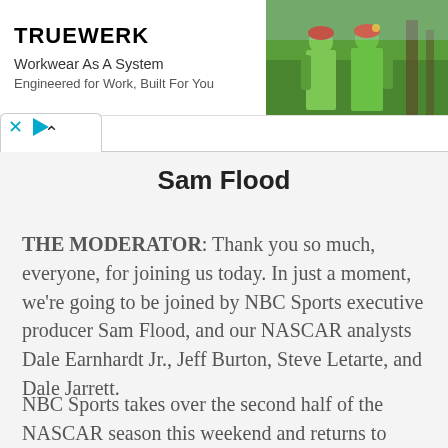[Figure (photo): TRUEWERK advertisement banner showing two workers in green high-visibility gear with helmets. Text reads: Workwear As A System, Engineered for Work, Built For You.]
Sam Flood
THE MODERATOR: Thank you so much, everyone, for joining us today. In just a moment, we're going to be joined by NBC Sports executive producer Sam Flood, and our NASCAR analysts Dale Earnhardt Jr., Jeff Burton, Steve Letarte, and Dale Jarrett.
NBC Sports takes over the second half of the NASCAR season this weekend and returns to Nashville. Coverage of the Cup Series begins at